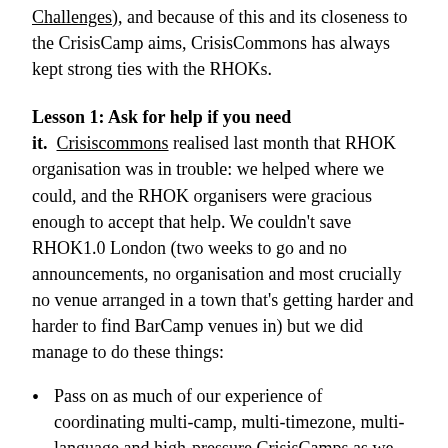Challenges), and because of this and its closeness to the CrisisCamp aims, CrisisCommons has always kept strong ties with the RHOKs.
Lesson 1: Ask for help if you need it.
Crisiscommons realised last month that RHOK organisation was in trouble: we helped where we could, and the RHOK organisers were gracious enough to accept that help. We couldn't save RHOK1.0 London (two weeks to go and no announcements, no organisation and most crucially no venue arranged in a town that's getting harder and harder to find BarCamp venues in) but we did manage to do these things:
Pass on as much of our experience of coordinating multi-camp, multi-timezone, multi-language and high-pressure CrisisCamps as we could.  Mostly this meant lots of conference calls